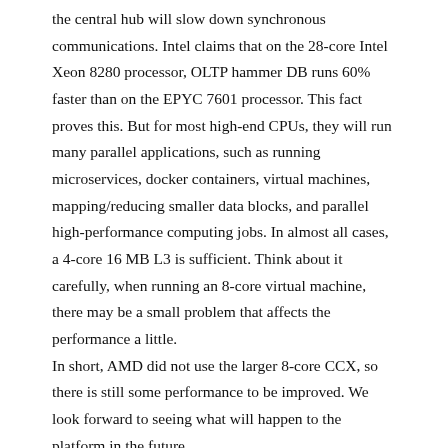the central hub will slow down synchronous communications. Intel claims that on the 28-core Intel Xeon 8280 processor, OLTP hammer DB runs 60% faster than on the EPYC 7601 processor. This fact proves this. But for most high-end CPUs, they will run many parallel applications, such as running microservices, docker containers, virtual machines, mapping/reducing smaller data blocks, and parallel high-performance computing jobs. In almost all cases, a 4-core 16 MB L3 is sufficient. Think about it carefully, when running an 8-core virtual machine, there may be a small problem that affects the performance a little.
In short, AMD did not use the larger 8-core CCX, so there is still some performance to be improved. We look forward to seeing what will happen to the platform in the future.